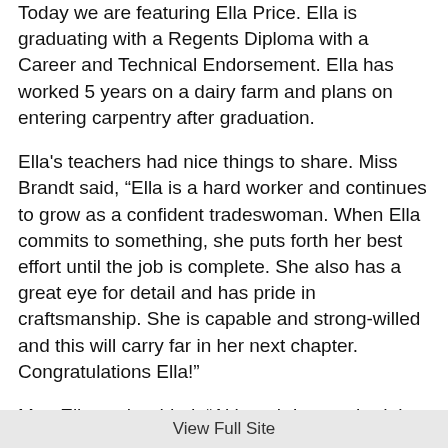Today we are featuring Ella Price.  Ella is graduating with a Regents Diploma with a Career and Technical Endorsement.  Ella has worked 5 years on a dairy farm and plans on entering carpentry after graduation.
Ella's teachers had nice things to share.  Miss Brandt said, “Ella is a hard worker and continues to grow as a confident tradeswoman. When Ella commits to something, she puts forth her best effort until the job is complete. She also has a great eye for detail and has pride in craftsmanship. She is capable and strong-willed and this will carry far in her next chapter. Congratulations Ella!”
Mrs. Ellsworth added, “Although I never had the honor to have Ella in class, I have always enjoyed our conversations. She is a great young lady with so much to say about life. I appreciated when she would stop by and chat with me when she had some free time. Her work ethic is impressive for a
View Full Site